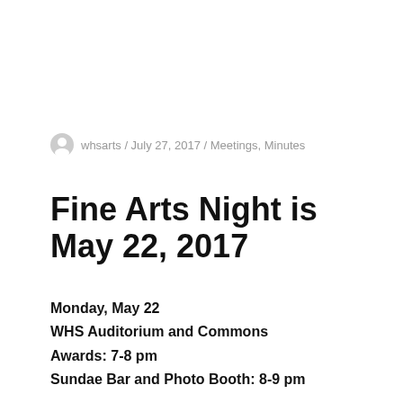whsarts / July 27, 2017 / Meetings, Minutes
Fine Arts Night is May 22, 2017
Monday, May 22
WHS Auditorium and Commons
Awards: 7-8 pm
Sundae Bar and Photo Booth: 8-9 pm